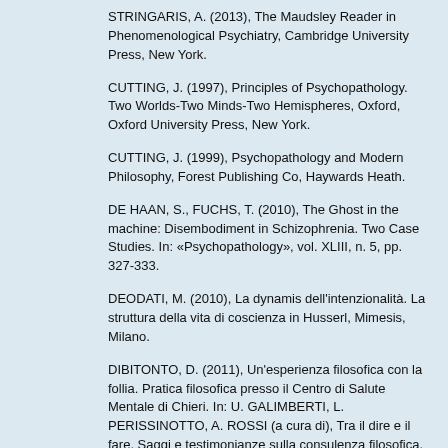STRINGARIS, A. (2013), The Maudsley Reader in Phenomenological Psychiatry, Cambridge University Press, New York.
CUTTING, J. (1997), Principles of Psychopathology. Two Worlds-Two Minds-Two Hemispheres, Oxford, Oxford University Press, New York.
CUTTING, J. (1999), Psychopathology and Modern Philosophy, Forest Publishing Co, Haywards Heath.
DE HAAN, S., FUCHS, T. (2010), The Ghost in the machine: Disembodiment in Schizophrenia. Two Case Studies. In: «Psychopathology», vol. XLIII, n. 5, pp. 327-333.
DEODATI, M. (2010), La dynamis dell'intenzionalità. La struttura della vita di coscienza in Husserl, Mimesis, Milano.
DIBITONTO, D. (2011), Un'esperienza filosofica con la follia. Pratica filosofica presso il Centro di Salute Mentale di Chieri. In: U. GALIMBERTI, L. PERISSINOTTO, A. ROSSI (a cura di), Tra il dire e il fare. Saggi e testimonianze sulla consulenza filosofica, Mimesis, Milano, pp. 61-99.
DIBITONTO, D. (2012), Fuggire, mascherare, formare. Tra spazio pubblico e privato. In: U. PERONE (a cura di), Filosofia e spazio pubblico, Il Mulino, Bologna, pp. 169-190.
DIBITONTO, D. (2014), No Non-Sense without Imagination: Schizophrenic Delusion as Reified Imaginings Unchallengeable by Perception. In: M. CAPPUCCIO, T. FROESE (eds.), Enactive Cognition at the Edge of Sense-Making. Making Sense of Non-Sense, Palgrave Macmillan, Basingstoke, New York, pp.